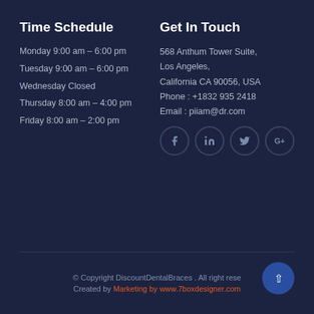Time Schedule
Monday 9:00 am – 6:00 pm
Tuesday 9:00 am – 6:00 pm
Wednesday Closed
Thursday 8:00 am – 4:00 pm
Friday 8:00 am – 2:00 pm
Get In Touch
568 Anthum Tower Suite, Los Angeles, California CA 90056, USA
Phone : +1832 935 2418
Email : piiam@dr.com
[Figure (other): Social media icons: Facebook, LinkedIn, Twitter, Google+]
© Copyright DiscountDentalBraces . All right reserved. Created by Marketing by www.7boxdesigner.com